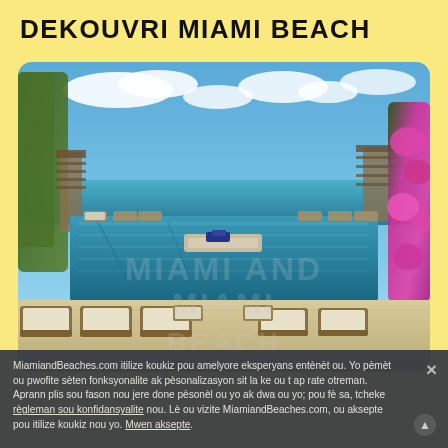DEKOUVRI MIAMI BEACH
[Figure (photo): Aerial view of a luxury hotel rooftop infinity pool in Miami Beach with white lounge chairs, a central pool island with blue towels, turquoise water, and pink bougainvillea flowers on the right. The ocean and blue sky with clouds are visible in the background.]
MiamiandBeaches.com itilize koukiz pou amelyore eksperyans entènèt ou. Yo pèmèt ou pwofite sèten fonksyonalite ak pèsonalizasyon sit la ke ou t ap rate otreman. Aprann plis sou fason nou jere done pèsonèl ou yo ak dwa ou yo; pou fè sa, tcheke règleman sou konfidansyalite nou. Lè ou vizite MiamiandBeaches.com, ou aksepte pou itilize koukiz nou yo. Mwen aksepte.